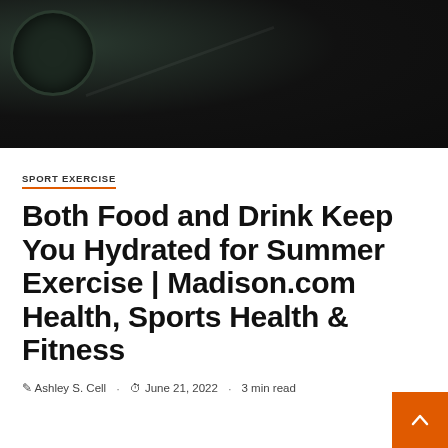[Figure (photo): Dark background photo showing gym equipment/weights on a dark surface]
SPORT EXERCISE
Both Food and Drink Keep You Hydrated for Summer Exercise | Madison.com Health, Sports Health & Fitness
Ashley S. Cell · June 21, 2022 · 3 min read